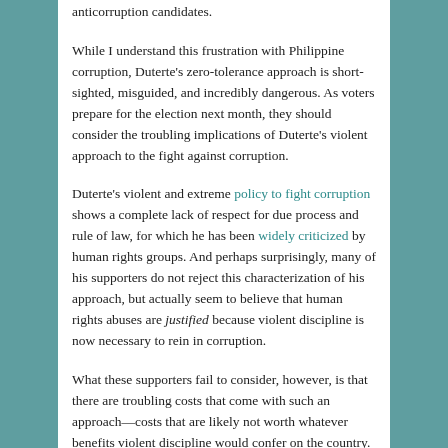anticorruption candidates.
While I understand this frustration with Philippine corruption, Duterte's zero-tolerance approach is short-sighted, misguided, and incredibly dangerous. As voters prepare for the election next month, they should consider the troubling implications of Duterte's violent approach to the fight against corruption.
Duterte's violent and extreme policy to fight corruption shows a complete lack of respect for due process and rule of law, for which he has been widely criticized by human rights groups. And perhaps surprisingly, many of his supporters do not reject this characterization of his approach, but actually seem to believe that human rights abuses are justified because violent discipline is now necessary to rein in corruption.
What these supporters fail to consider, however, is that there are troubling costs that come with such an approach—costs that are likely not worth whatever benefits violent discipline would confer on the country.